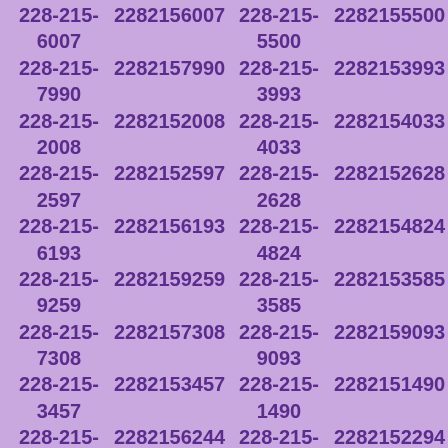228-215-6007 2282156007 228-215-5500 2282155500 228-215-7990 2282157990 228-215-3993 2282153993 228-215-2008 2282152008 228-215-4033 2282154033 228-215-2597 2282152597 228-215-2628 2282152628 228-215-6193 2282156193 228-215-4824 2282154824 228-215-9259 2282159259 228-215-3585 2282153585 228-215-7308 2282157308 228-215-9093 2282159093 228-215-3457 2282153457 228-215-1490 2282151490 228-215-6244 2282156244 228-215-2294 2282152294 228-215-7562 2282157562 228-215-0226 2282150226 228-215-2214 2282152214 228-215-4735 2282154735 228-215-3346 2282153346 228-215-9413 2282159413 228-215-6265 2282156265 228-215-8039 2282158039 228-215-2964 2282152964 228-215-0435 2282150435 228-215-5440 2282155440 228-215-3742 2282153742 228-215-5327 2282155327 228-215-5646 2282155646 228-215-0382 2282150382 228-215-4862 2282154862 228-215-5737 2282155737 228-215-6254 2282156254 228-215-5785 2282155785 228-215-1747 2282151747 228-215-1245 2282151245 228-215-9514 2282159514